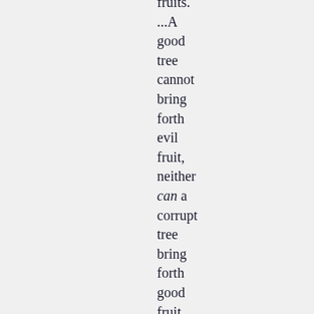fruits. ...A good tree cannot bring forth evil fruit, neither can a corrupt tree bring forth good fruit. Every tree that bringeth not forth good fruit is hewn